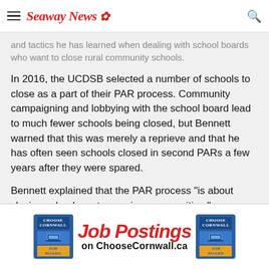Seaway News
and tactics he has learned when dealing with school boards who want to close rural community schools.
In 2016, the UCDSB selected a number of schools to close as a part of their PAR process. Community campaigning and lobbying with the school board lead to much fewer schools being closed, but Bennett warned that this was merely a reprieve and that he has often seen schools closed in second PARs a few years after they were spared.
Bennett explained that the PAR process “is about closing schools, not renewing communities.”
[Figure (advertisement): Job Postings on ChooseCornwall.ca advertisement banner with Choose Cornwall Job Board logos on each side]